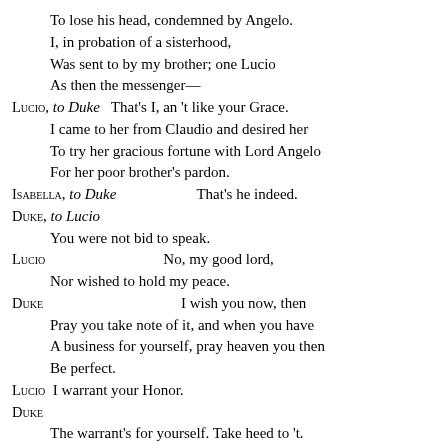To lose his head, condemned by Angelo.
I, in probation of a sisterhood,
Was sent to by my brother; one Lucio
As then the messenger—
LUCIO, to Duke   That's I, an 't like your Grace.
I came to her from Claudio and desired her
To try her gracious fortune with Lord Angelo
For her poor brother's pardon.
ISABELLA, to Duke   That's he indeed.
DUKE, to Lucio
You were not bid to speak.
LUCIO   No, my good lord,
Nor wished to hold my peace.
DUKE   I wish you now, then
Pray you take note of it, and when you have
A business for yourself, pray heaven you then
Be perfect.
LUCIO   I warrant your Honor.
DUKE
The warrant's for yourself. Take heed to 't.
ISABELLA
This gentleman told somewhat of my tale.
LUCIO   Right.